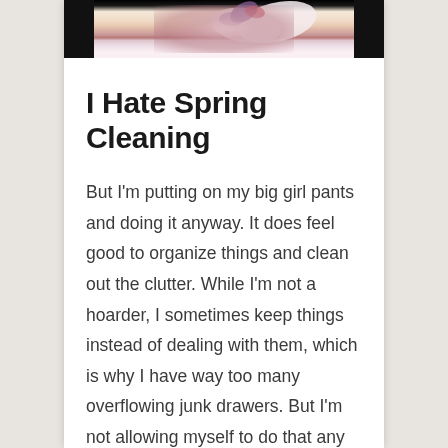[Figure (photo): Top portion of a photo showing a white flower with colorful accents (pink, purple, red) against a dark background, cropped at the top of the page]
I Hate Spring Cleaning
But I'm putting on my big girl pants and doing it anyway. It does feel good to organize things and clean out the clutter. While I'm not a hoarder, I sometimes keep things instead of dealing with them, which is why I have way too many overflowing junk drawers. But I'm not allowing myself to do that any longer because my clutter is getting out of hand. So I'm